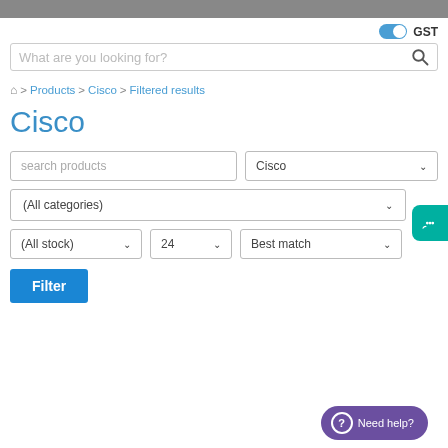GST toggle
What are you looking for?
Home > Products > Cisco > Filtered results
Cisco
search products
Cisco
(All categories)
(All stock)
24
Best match
Filter
Need help?